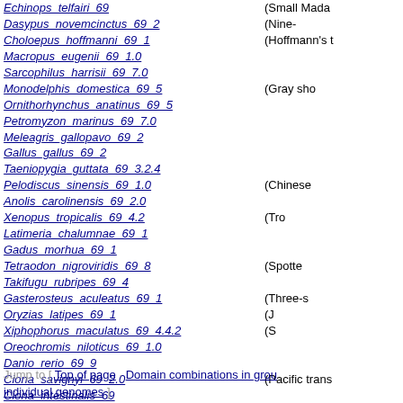Echinops_telfairi_69  (Small Mada
Dasypus_novemcinctus_69_2  (Nine-
Choloepus_hoffmanni_69_1  (Hoffmann's t
Macropus_eugenii_69_1.0
Sarcophilus_harrisii_69_7.0
Monodelphis_domestica_69_5  (Gray sho
Ornithorhynchus_anatinus_69_5
Petromyzon_marinus_69_7.0
Meleagris_gallopavo_69_2
Gallus_gallus_69_2
Taeniopygia_guttata_69_3.2.4
Pelodiscus_sinensis_69_1.0  (Chinese
Anolis_carolinensis_69_2.0
Xenopus_tropicalis_69_4.2  (Tro
Latimeria_chalumnae_69_1
Gadus_morhua_69_1
Tetraodon_nigroviridis_69_8  (Spotte
Takifugu_rubripes_69_4
Gasterosteus_aculeatus_69_1  (Three-s
Oryzias_latipes_69_1  (J
Xiphophorus_maculatus_69_4.4.2  (S
Oreochromis_niloticus_69_1.0
Danio_rerio_69_9
Ciona_savignyi_69_2.0  (Pacific trans
Ciona_intestinalis_69
Drosophila_melanogaster_69_5
Caenorhabditis_elegans_69_215
Jump to [ Top of page · Domain combinations in grou... individual genomes ]